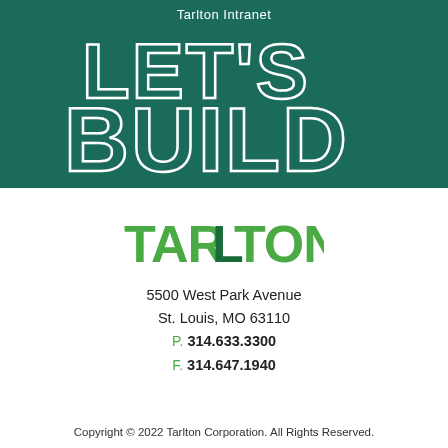Tarlton Intranet
LET'S BUILD
[Figure (logo): Tarlton Corporation logo in green]
5500 West Park Avenue
St. Louis, MO 63110
P. 314.633.3300
F. 314.647.1940
Copyright © 2022 Tarlton Corporation. All Rights Reserved.